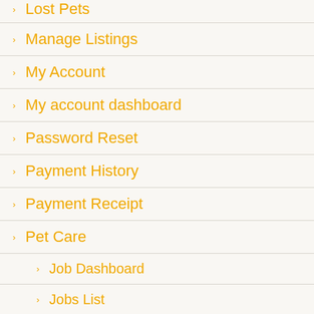Lost Pets
Manage Listings
My Account
My account dashboard
Password Reset
Payment History
Payment Receipt
Pet Care
Job Dashboard
Jobs List
Pet Sitter Dashboard
Pet Sitters List